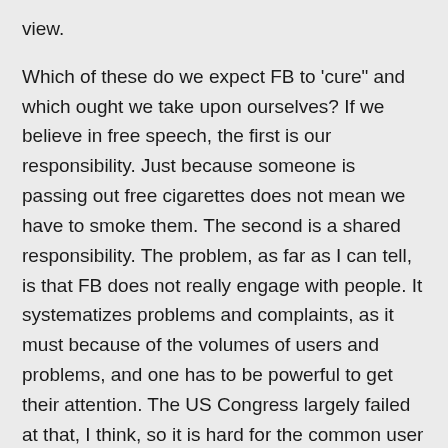view.

Which of these do we expect FB to 'cure" and which ought we take upon ourselves? If we believe in free speech, the first is our responsibility. Just because someone is passing out free cigarettes does not mean we have to smoke them. The second is a shared responsibility. The problem, as far as I can tell, is that FB does not really engage with people. It systematizes problems and complaints, as it must because of the volumes of users and problems, and one has to be powerful to get their attention. The US Congress largely failed at that, I think, so it is hard for the common user to get FB's attention on